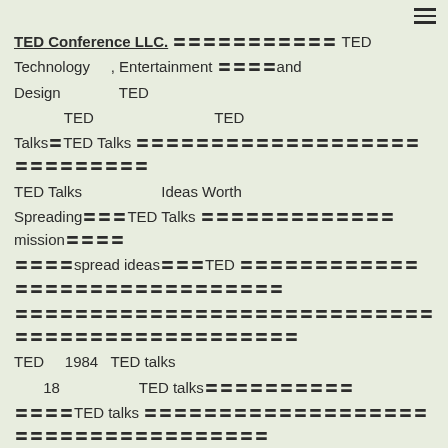TED Conference LLC. 〓〓〓〓〓〓〓〓〓〓〓 TED Technology , Entertainment 〓〓〓〓and Design TED TED TED TED TalksTED Talks 〓〓〓〓〓〓〓〓〓〓〓〓〓〓〓〓〓〓〓〓〓〓〓〓〓〓〓〓 TED Talks Ideas Worth Spreading〓〓〓TED Talks 〓〓〓〓〓〓〓〓〓〓〓〓〓mission〓〓〓〓〓〓〓〓〓spread ideas〓〓〓TED 〓〓〓〓〓〓〓〓〓〓〓〓〓〓〓〓〓〓〓〓〓〓〓〓〓〓〓〓〓〓〓〓〓〓〓〓〓〓〓〓〓〓〓〓〓〓〓〓〓〓〓〓〓〓〓〓〓〓〓〓〓〓 TED 1984 TED talks 18 TED talks〓〓〓〓〓〓〓〓〓〓〓〓〓〓TED talks 〓〓〓〓〓〓〓〓〓〓〓〓〓〓〓〓〓〓〓〓〓〓〓〓〓〓〓〓〓〓〓〓〓〓〓〓〓〓〓〓〓〓〓〓〓〓〓〓〓〓〓〓〓〓〓〓〓〓〓〓〓〓〓〓〓TED talks